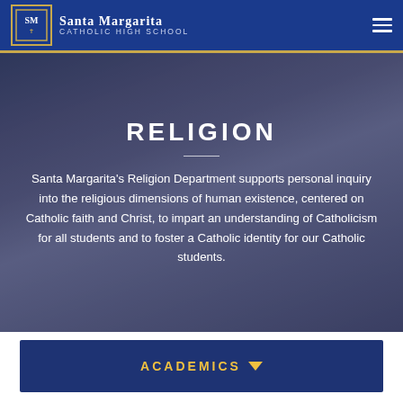Santa Margarita Catholic High School
[Figure (photo): Background photo of a smiling young woman with arms raised at what appears to be a school celebration event with blue and white balloons]
RELIGION
Santa Margarita's Religion Department supports personal inquiry into the religious dimensions of human existence, centered on Catholic faith and Christ, to impart an understanding of Catholicism for all students and to foster a Catholic identity for our Catholic students.
ACADEMICS